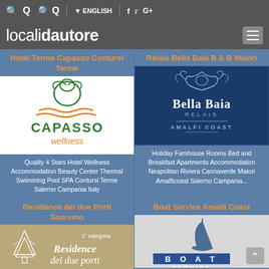localidautore — ENGLISH toolbar with search icons and social links (f, Twitter, G+)
Hotel Terme Capasso Contursi Terme
[Figure (logo): Capasso Wellness logo — green and orange swirl logo with text CAPASSO and wellness below]
Quality 4 Stars Hotel Wellness Accommodation Beauty Center Thermal Swimming Pool SPA Contursi Terme Salerno Campania Italy
Relais Bella Baia B & B Maiori
[Figure (logo): Bella Baia Relais Amalfi Coast logo on dark navy blue background with decorative crest]
Holiday Famhouse Rooms Bed and Breakfast Apartments Accommodation Neapolitan Riviera Cannaverde Maiori Amalficoast Salerno Campania...
Residence dei due Porti Sanremo
[Figure (logo): Residence dei due porti logo — tan/gold background with white script text and pine tree illustration, 1° categoria]
Boat Service Amalfi Coast
[Figure (logo): Boat Service logo — sailboat graphic above BOAT SERVICE text on light grey background]